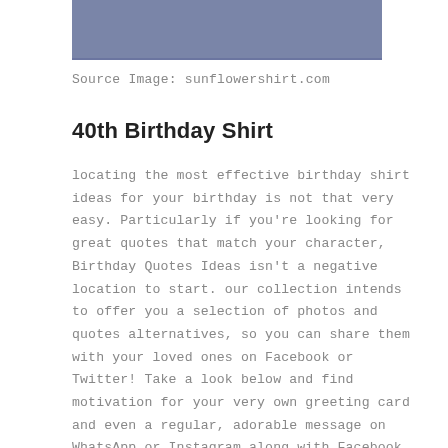[Figure (photo): Partial view of a blue/grey shirt fabric at the top of the page]
Source Image: sunflowershirt.com
40th Birthday Shirt
locating the most effective birthday shirt ideas for your birthday is not that very easy. Particularly if you're looking for great quotes that match your character, Birthday Quotes Ideas isn't a negative location to start. our collection intends to offer you a selection of photos and quotes alternatives, so you can share them with your loved ones on Facebook or Twitter! Take a look below and find motivation for your very own greeting card and even a regular, adorable message on WhatsApp or Instagram along with Facebook according to your charm.